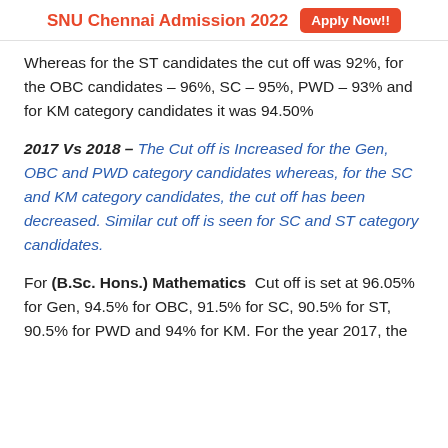SNU Chennai Admission 2022  Apply Now!!
Whereas for the ST candidates the cut off was 92%, for the OBC candidates – 96%, SC – 95%, PWD – 93% and for KM category candidates it was 94.50%
2017 Vs 2018 – The Cut off is Increased for the Gen, OBC and PWD category candidates whereas, for the SC and KM category candidates, the cut off has been decreased. Similar cut off is seen for SC and ST category candidates.
For (B.Sc. Hons.) Mathematics  Cut off is set at 96.05% for Gen, 94.5% for OBC, 91.5% for SC, 90.5% for ST, 90.5% for PWD and 94% for KM. For the year 2017, the